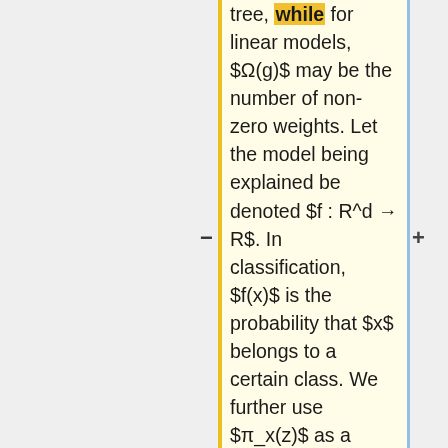tree, while for linear models, $\Omega(g)$ may be the number of non-zero weights. Let the model being explained be denoted $f : R^d \to R$. In classification, $f(x)$ is the probability that $x$ belongs to a certain class. We further use $\pi_x(z)$ as a proximity measure between an instance $z$ to $x$, so as to define locality